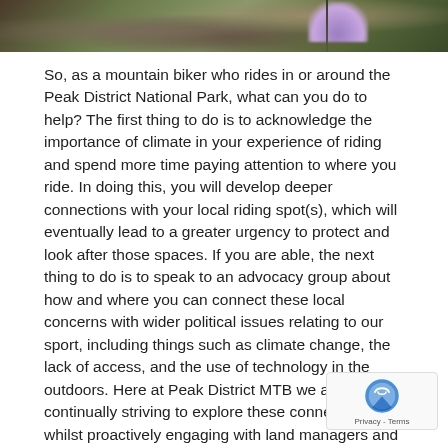[Figure (photo): Cropped top portion of a nature/outdoor photograph showing plants and foliage with purple flowers against a dark background.]
So, as a mountain biker who rides in or around the Peak District National Park, what can you do to help? The first thing to do is to acknowledge the importance of climate in your experience of riding and spend more time paying attention to where you ride. In doing this, you will develop deeper connections with your local riding spot(s), which will eventually lead to a greater urgency to protect and look after those spaces. If you are able, the next thing to do is to speak to an advocacy group about how and where you can connect these local concerns with wider political issues relating to our sport, including things such as climate change, the lack of access, and the use of technology in the outdoors. Here at Peak District MTB we are continually striving to explore these connections, whilst proactively engaging with land managers and policy makers to help address environmental concerns and conflicts, but there is still plenty more to do! Finally, we need a long-term plan for changing perceptions and campaigning for future access which works with, rather than against the interests of other